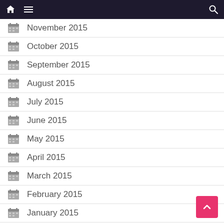Navigation bar with home, menu, and search icons
November 2015
October 2015
September 2015
August 2015
July 2015
June 2015
May 2015
April 2015
March 2015
February 2015
January 2015